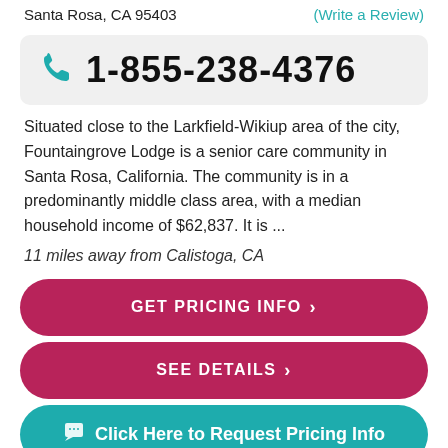Santa Rosa, CA 95403
(Write a Review)
1-855-238-4376
Situated close to the Larkfield-Wikiup area of the city, Fountaingrove Lodge is a senior care community in Santa Rosa, California. The community is in a predominantly middle class area, with a median household income of $62,837. It is ...
11 miles away from Calistoga, CA
GET PRICING INFO ›
SEE DETAILS ›
Click Here to Request Pricing Info